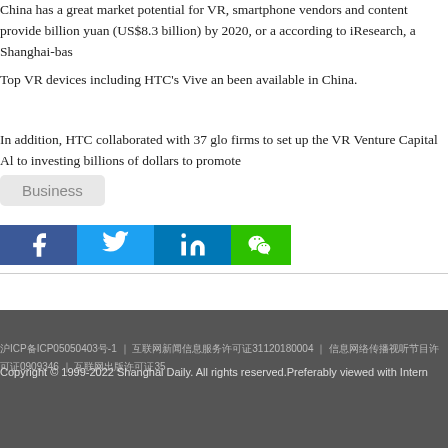China has a great market potential for VR, smartphone vendors and content providers. billion yuan (US$8.3 billion) by 2020, or a according to iResearch, a Shanghai-bas
Top VR devices including HTC's Vive an been available in China.
In addition, HTC collaborated with 37 glo firms to set up the VR Venture Capital Al to investing billions of dollars to promote
Business
[Figure (other): Social media share buttons: Facebook, Twitter, LinkedIn, WeChat]
About Us | Terms of Use | RSS | Privacy Policy | Contact Us | Shanghai Call C
沪ICP备ICP05050403号-1 | 互联网新闻信息服务许可证31120180004 | 信息网络传播视听节目许可证0909346 | 互联网出版许可证35
Copyright © 1999-2022 Shanghai Daily. All rights reserved.Preferably viewed with Intern